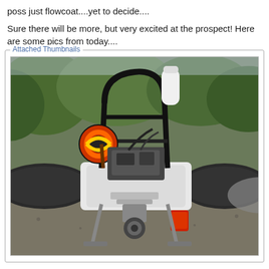poss just flowcoat....yet to decide....
Sure there will be more, but very excited at the prospect! Here are some pics from today....
[Figure (photo): Front view of a rigid inflatable boat (RIB) on a trailer in a yard, with inflatable pontoons on both sides, roll bars overhead, a life ring mounted on the left, red motor cover visible at bottom, surrounded by trees in background.]